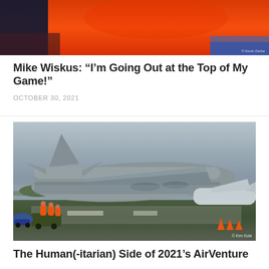[Figure (photo): Partial view of orange aircraft or equipment with a person visible, cropped at top of page]
Mike Wiskus: “I’m Going Out at the Top of My Game!”
OCTOBER 30, 2021
[Figure (photo): Large military transport aircraft (C-17 Globemaster) taxiing on runway at AirVenture airshow, with ground crew in orange vests riding a utility vehicle in foreground. Photo credit: © Ken Kula]
The Human(-itarian) Side of 2021’s AirVenture